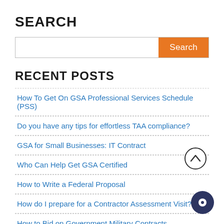SEARCH
[Figure (other): Search input bar with orange Search button]
RECENT POSTS
How To Get On GSA Professional Services Schedule (PSS)
Do you have any tips for effortless TAA compliance?
GSA for Small Businesses: IT Contract
Who Can Help Get GSA Certified
How to Write a Federal Proposal
How do I prepare for a Contractor Assessment Visit?
How to Bid on Government Military Contracts